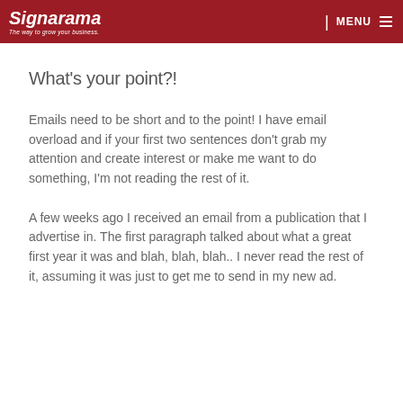Signarama — The way to grow your business. | MENU
What's your point?!
Emails need to be short and to the point!  I have email overload and if your first two sentences don't grab my attention and create interest or make me want to do something, I'm not reading the rest of it.
A few weeks ago I received an email from a publication that I advertise in.  The first paragraph talked about what a great first year it was and blah, blah, blah.. I never read the rest of it, assuming it was just to get me to send in my new ad.